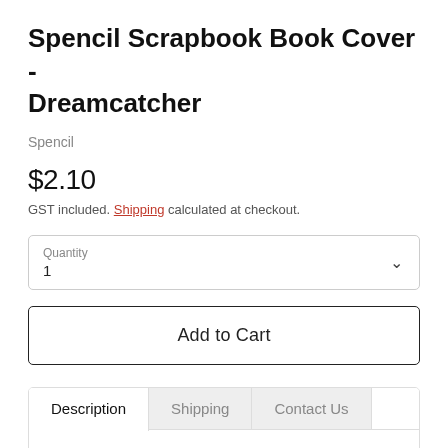Spencil Scrapbook Book Cover - Dreamcatcher
Spencil
$2.10
GST included. Shipping calculated at checkout.
Quantity
1
Add to Cart
Description | Shipping | Contact Us
We love reusable book covers and know you will too. Made from Certified Non-Toxic Beach PVC material